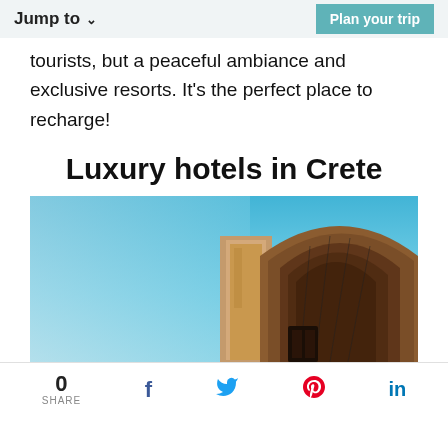Jump to  Plan your trip
tourists, but a peaceful ambiance and exclusive resorts. It's the perfect place to recharge!
Luxury hotels in Crete
[Figure (photo): Exterior of a luxury hotel in Crete showing archways and stone architecture against a clear blue sky]
0 SHARE  f  Twitter  Pinterest  in